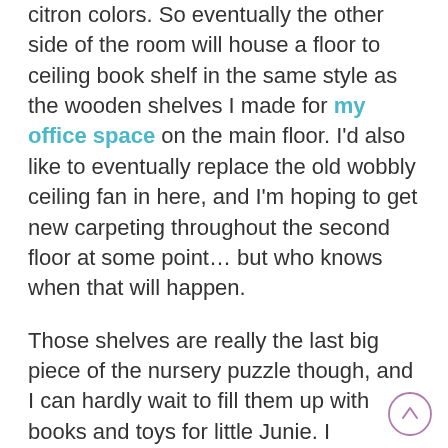citron colors. So eventually the other side of the room will house a floor to ceiling book shelf in the same style as the wooden shelves I made for my office space on the main floor. I'd also like to eventually replace the old wobbly ceiling fan in here, and I'm hoping to get new carpeting throughout the second floor at some point… but who knows when that will happen.

Those shelves are really the last big piece of the nursery puzzle though, and I can hardly wait to fill them up with books and toys for little Junie. I anticipate it will be spring before that becomes reality, when things warm up enough to stain wood again and I have a little more free time (being
[Figure (other): A circular back-to-top button with an upward arrow, outlined in purple/mauve color, positioned at bottom right.]